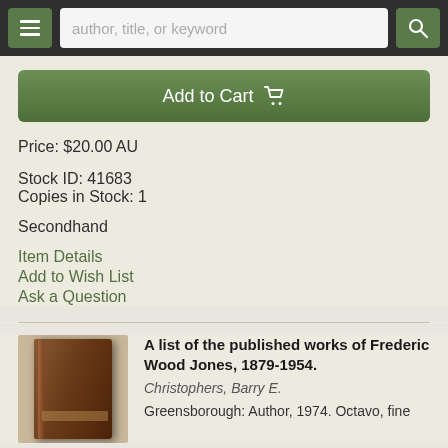author, title, or keyword
Add to Cart
Price: $20.00 AU
Stock ID: 41683
Copies in Stock: 1
Secondhand
Item Details
Add to Wish List
Ask a Question
A list of the published works of Frederic Wood Jones, 1879-1954.
Christophers, Barry E.
Greensborough: Author, 1974. Octavo, fine